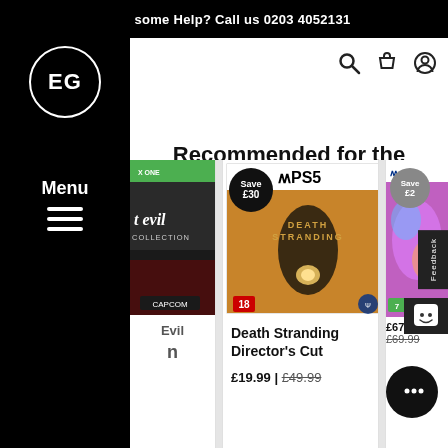Need some Help? Call us 0203 4052131
Recommended for the PRE-ORDER The Last of Us Part I
[Figure (screenshot): Navigation sidebar with EG logo circle, Menu label and hamburger icon on black background]
[Figure (photo): Partial Resident Evil Xbox One game case on left]
[Figure (photo): Death Stranding Director's Cut PS5 game cover with Save £30 badge]
Evil
n
Death Stranding Director's Cut
£19.99 | £49.99
[Figure (photo): Partial right game card with Save £2 badge, £67.99 | £69.99 price]
£67.99 | £69.99